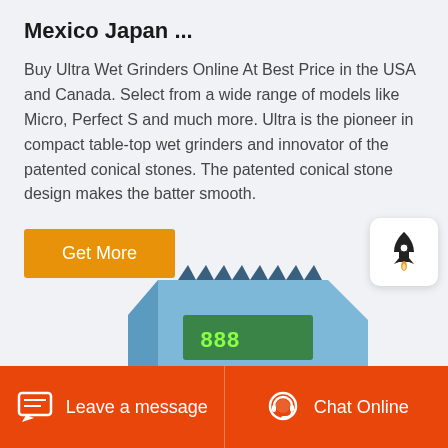Mexico Japan ...
Buy Ultra Wet Grinders Online At Best Price in the USA and Canada. Select from a wide range of models like Micro, Perfect S and much more. Ultra is the pioneer in compact table-top wet grinders and innovator of the patented conical stones. The patented conical stone design makes the batter smooth.
Get More
[Figure (illustration): Partial view of a blue industrial/electronic device with green display panel and heat-sink fins on top, shown at an angle]
[Figure (other): Rocket icon widget in white rounded square]
Leave a message   Chat Online